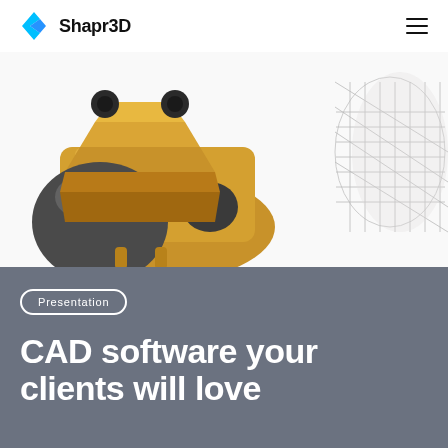[Figure (logo): Shapr3D logo with blue diamond/arrow icon and text 'Shapr3D']
[Figure (photo): 3D CAD render of a golden mechanical component (possibly a valve or clamp) with black cylindrical parts, and a wireframe 3D model of a mechanical part on the right side, on a white background]
Presentation
CAD software your clients will love